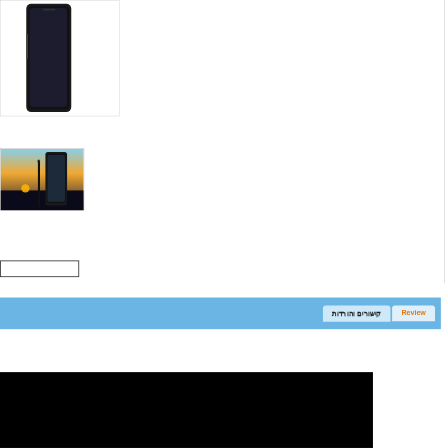[Figure (photo): Large product image box showing a Samsung Galaxy Note smartphone (partial, dark colored phone against white background), top portion of UI]
[Figure (photo): Thumbnail image of Samsung Galaxy Note 8 with S Pen, phone displayed at angle with golden/blue sunset background]
[Figure (other): Empty input/search box with dark border]
קישורים והורדות
Review
2019
Share